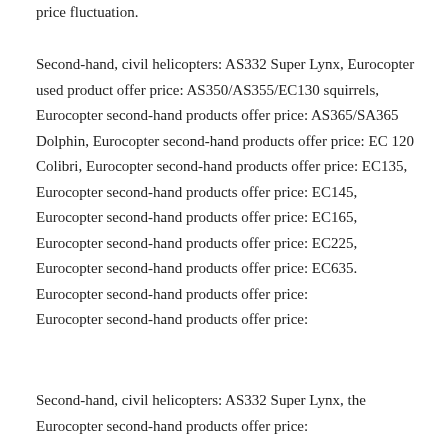price fluctuation.
Second-hand, civil helicopters: AS332 Super Lynx, Eurocopter used product offer price: AS350/AS355/EC130 squirrels, Eurocopter second-hand products offer price: AS365/SA365 Dolphin, Eurocopter second-hand products offer price: EC 120 Colibri, Eurocopter second-hand products offer price: EC135, Eurocopter second-hand products offer price: EC145, Eurocopter second-hand products offer price: EC165, Eurocopter second-hand products offer price: EC225, Eurocopter second-hand products offer price: EC635. Eurocopter second-hand products offer price: Eurocopter second-hand products offer price:
Second-hand, civil helicopters: AS332 Super Lynx, the Eurocopter...